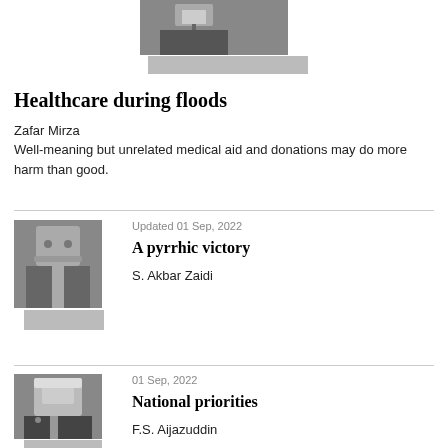[Figure (photo): Partial photo of a man in suit and tie, black and white, cropped at top]
Healthcare during floods
Zafar Mirza
Well-meaning but unrelated medical aid and donations may do more harm than good.
[Figure (photo): Black and white photo of a man with glasses wearing a light shirt]
Updated 01 Sep, 2022
A pyrrhic victory
S. Akbar Zaidi
[Figure (photo): Black and white photo of an older man in a dark suit with a flower pin]
01 Sep, 2022
National priorities
F.S. Aijazuddin